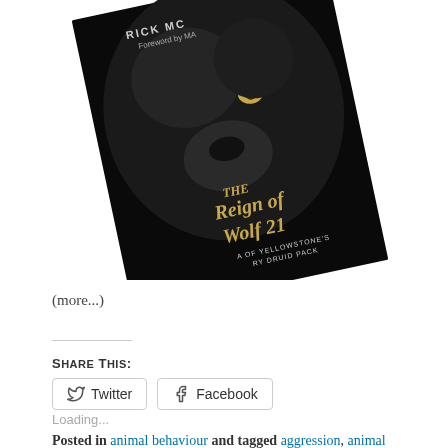[Figure (photo): Book cover of 'The Reign of Wolf 21' by Rick McIntyre, showing a black wolf's face close-up against a dark background with gold lettering. The book cover is tilted at an angle. Text on cover reads: 'The Reign of Wolf 21', 'A of Yellowstone's ry Druid Pack', 'RICK MC...', 'Foreword by MA...']
(more...)
SHARE THIS:
Twitter  Facebook
Loading...
Posted in animal behaviour and tagged aggression, animal behaviour, animal emotions, animal hierarchies, animal